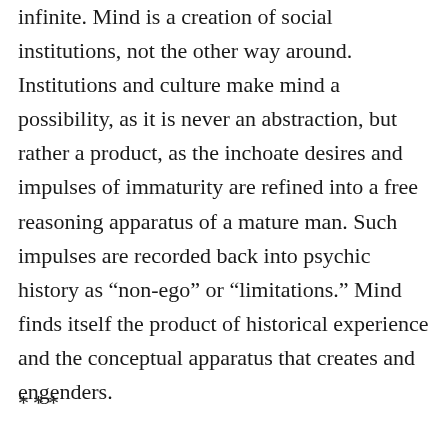infinite. Mind is a creation of social institutions, not the other way around. Institutions and culture make mind a possibility, as it is never an abstraction, but rather a product, as the inchoate desires and impulses of immaturity are refined into a free reasoning apparatus of a mature man. Such impulses are recorded back into psychic history as “non-ego” or “limitations.” Mind finds itself the product of historical experience and the conceptual apparatus that creates and engenders.
***